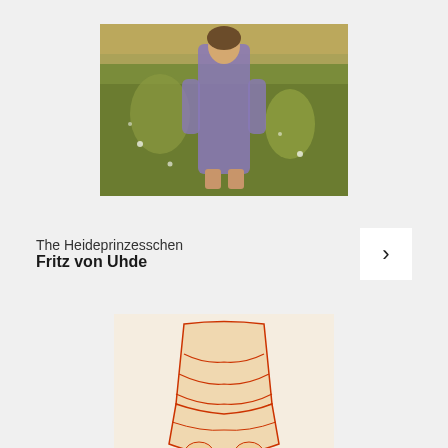[Figure (photo): Painting of a girl in a purple dress standing in a meadow with wildflowers - The Heideprinzesschen by Fritz von Uhde]
The Heideprinzesschen
Fritz von Uhde
[Figure (photo): Drawing/sketch of a standing figure with red stockings and white dress, shown from waist down - artwork in red and orange tones on cream background]